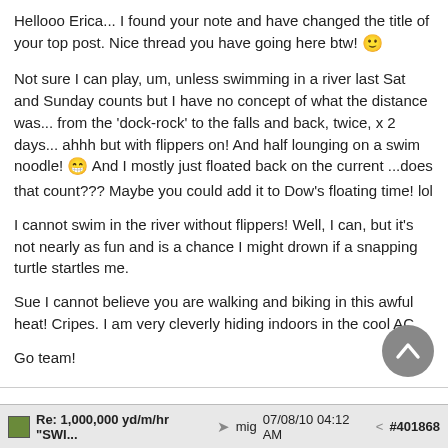Hellooo Erica... I found your note and have changed the title of your top post. Nice thread you have going here btw! 🙂
Not sure I can play, um, unless swimming in a river last Sat and Sunday counts but I have no concept of what the distance was... from the 'dock-rock' to the falls and back, twice, x 2 days... ahhh but with flippers on! And half lounging on a swim noodle! 😁 And I mostly just floated back on the current ...does that count??? Maybe you could add it to Dow's floating time! lol
I cannot swim in the river without flippers! Well, I can, but it's not nearly as fun and is a chance I might drown if a snapping turtle startles me.
Sue I cannot believe you are walking and biking in this awful heat! Cripes. I am very cleverly hiding indoors in the cool AC.
Go team!
Re: 1,000,000 yd/m/hr "SWI... mig 07/08/10 04:12 AM #401868